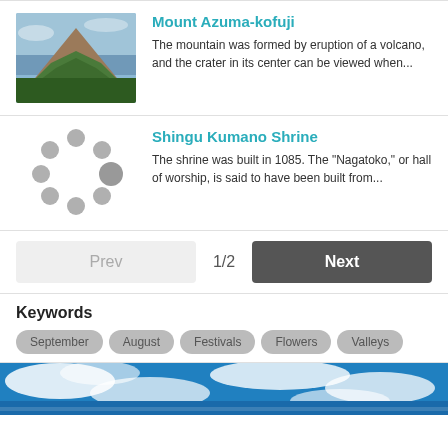[Figure (photo): Photo of Mount Azuma-kofuji, a volcanic mountain with green vegetation and blue sky]
Mount Azuma-kofuji
The mountain was formed by eruption of a volcano, and the crater in its center can be viewed when...
[Figure (other): Loading spinner with grey dots in circular arrangement]
Shingu Kumano Shrine
The shrine was built in 1085. The "Nagatoko," or hall of worship, is said to have been built from...
Prev
1/2
Next
Keywords
September
August
Festivals
Flowers
Valleys
[Figure (photo): Blue sky with clouds, partial image at bottom of page]